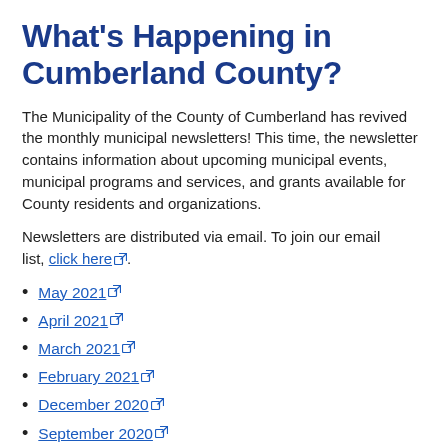What's Happening in Cumberland County?
The Municipality of the County of Cumberland has revived the monthly municipal newsletters! This time, the newsletter contains information about upcoming municipal events, municipal programs and services, and grants available for County residents and organizations.
Newsletters are distributed via email. To join our email list, click here.
May 2021
April 2021
March 2021
February 2021
December 2020
September 2020
August 2020
July 2020
May 2020